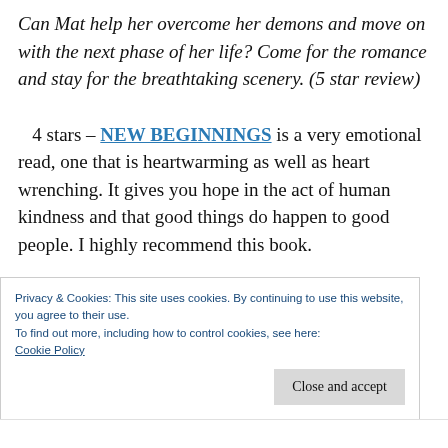Can Mat help her overcome her demons and move on with the next phase of her life? Come for the romance and stay for the breathtaking scenery. (5 star review)
4 stars – NEW BEGINNINGS is a very emotional read, one that is heartwarming as well as heart wrenching. It gives you hope in the act of human kindness and that good things do happen to good people. I highly recommend this book.
Privacy & Cookies: This site uses cookies. By continuing to use this website, you agree to their use.
To find out more, including how to control cookies, see here:
Cookie Policy